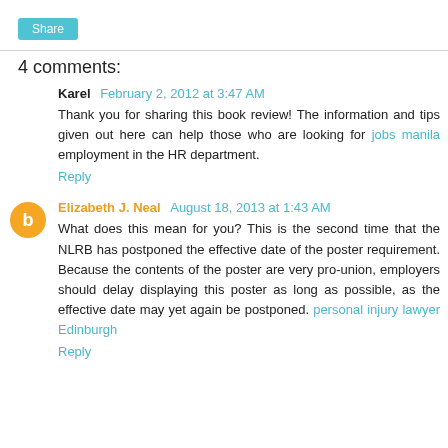Share
4 comments:
Karel  February 2, 2012 at 3:47 AM
Thank you for sharing this book review! The information and tips given out here can help those who are looking for jobs manila employment in the HR department.
Reply
Elizabeth J. Neal  August 18, 2013 at 1:43 AM
What does this mean for you? This is the second time that the NLRB has postponed the effective date of the poster requirement. Because the contents of the poster are very pro-union, employers should delay displaying this poster as long as possible, as the effective date may yet again be postponed. personal injury lawyer Edinburgh
Reply